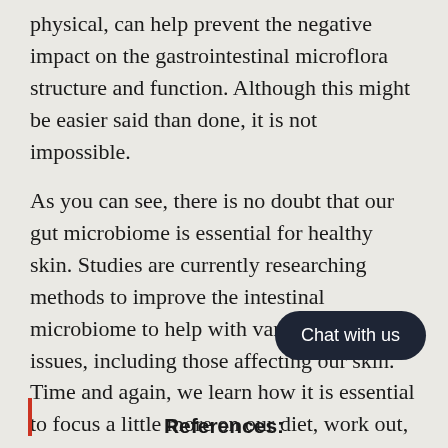physical, can help prevent the negative impact on the gastrointestinal microflora structure and function. Although this might be easier said than done, it is not impossible.
As you can see, there is no doubt that our gut microbiome is essential for healthy skin. Studies are currently researching methods to improve the intestinal microbiome to help with various health issues, including those affecting our skin. Time and again, we learn how it is essential to focus a little more on our diet, work out, even if for ten minutes a day, keep away from stressful situations, and take care of our he...
References: